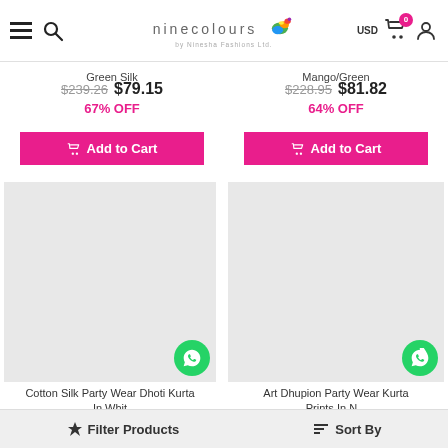ninecolours by Ninesha Fashions Ltd. | USD | Cart (0) | User
Green Silk
$239.26  $79.15  67% OFF
Mango/Green
$228.95  $81.82  64% OFF
[Figure (photo): Product image placeholder (light grey) for Cotton Silk Party Wear Dhoti Kurta In White with WhatsApp contact button]
Cotton Silk Party Wear Dhoti Kurta In Whit
[Figure (photo): Product image placeholder (light grey) for Art Dhupion Party Wear Kurta with WhatsApp contact button]
Art Dhupion Party Wear Kurta Prints In N...
Filter Products    Sort By